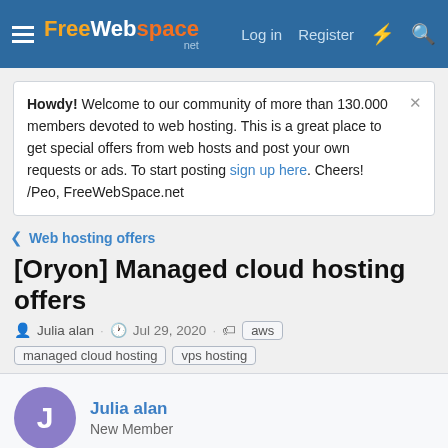FreeWebSpace.net — Log in  Register
Howdy! Welcome to our community of more than 130.000 members devoted to web hosting. This is a great place to get special offers from web hosts and post your own requests or ads. To start posting sign up here. Cheers! /Peo, FreeWebSpace.net
Web hosting offers
[Oryon] Managed cloud hosting offers
Julia alan · Jul 29, 2020 · aws  managed cloud hosting  vps hosting
Julia alan
New Member
Jul 29, 2020
#1
Oryon Offers fully managed Windows VPS and Linux VPS